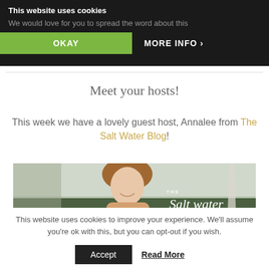This website uses cookies
We would love for you to spread the word about this
OKAY
MORE INFO ›
Meet your hosts!
This week we have a lovely guest host, Annalee from The Salt Water Blog!
[Figure (photo): Photo of a woman with long brown hair smiling, standing outdoors with trees and what appears to be the Washington Monument in the background. The Salt Water Blog script text is visible.]
This website uses cookies to improve your experience. We'll assume you're ok with this, but you can opt-out if you wish.
Accept
Read More